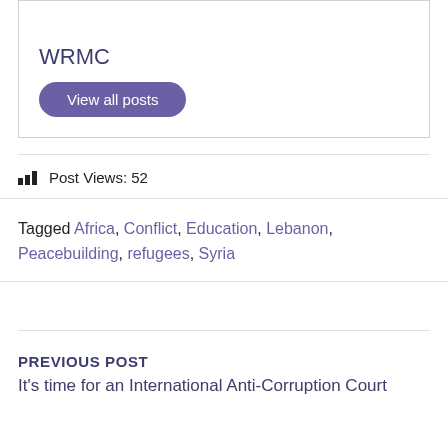WRMC
View all posts
Post Views: 52
Tagged Africa, Conflict, Education, Lebanon, Peacebuilding, refugees, Syria
PREVIOUS POST
It's time for an International Anti-Corruption Court